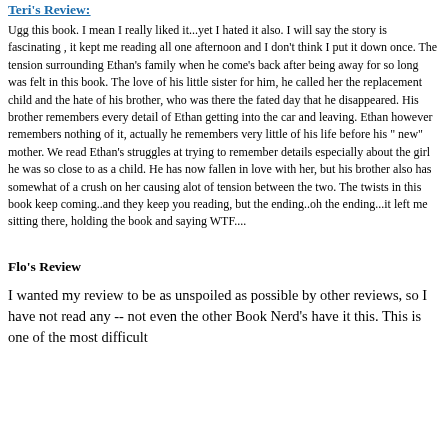Teri's Review:
Ugg this book. I mean I really liked it...yet I hated it also. I will say the story is fascinating , it kept me reading all one afternoon and I don't think I put it down once. The tension surrounding Ethan's family when he come's back after being away for so long was felt in this book. The love of his little sister for him, he called her the replacement child and the hate of his brother, who was there the fated day that he disappeared. His brother remembers every detail of Ethan getting into the car and leaving. Ethan however remembers nothing of it, actually he remembers very little of his life before his " new" mother. We read Ethan's struggles at trying to remember details especially about the girl he was so close to as a child. He has now fallen in love with her, but his brother also has somewhat of a crush on her causing alot of tension between the two. The twists in this book keep coming..and they keep you reading, but the ending..oh the ending...it left me sitting there, holding the book and saying WTF....
Flo's Review
I wanted my review to be as unspoiled as possible by other reviews, so I have not read any -- not even the other Book Nerd's have it this. This is one of the most difficult